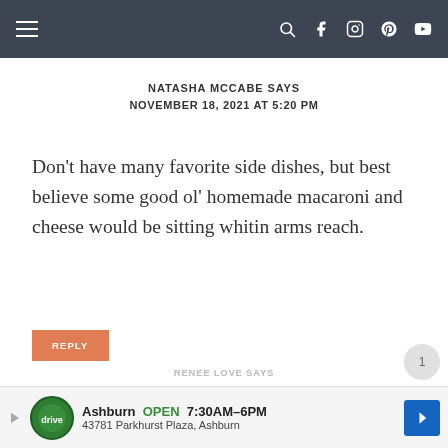Navigation bar with hamburger menu and social icons
NATASHA MCCABE SAYS
NOVEMBER 18, 2021 AT 5:20 PM
Don't have many favorite side dishes, but best believe some good ol' homemade macaroni and cheese would be sitting whitin arms reach.
REPLY
RENEE LOVE SAYS
[Figure (other): Advertisement bar: Drivetime auto logo, Ashburn OPEN 7:30AM-6PM, 43781 Parkhurst Plaza, Ashburn, with navigation arrow icon]